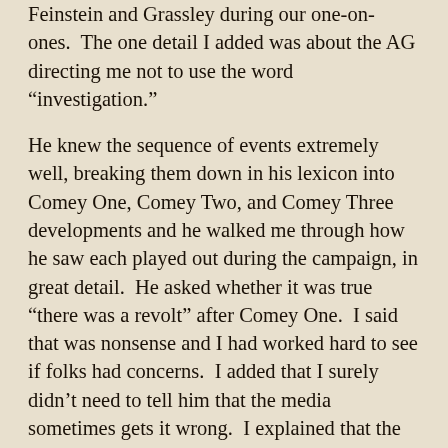Feinstein and Grassley during our one-on-ones. The one detail I added was about the AG directing me not to use the word “investigation.”
He knew the sequence of events extremely well, breaking them down in his lexicon into Comey One, Comey Two, and Comey Three developments and he walked me through how he saw each played out during the campaign, in great detail. He asked whether it was true “there was a revolt” after Comey One. I said that was nonsense and I had worked hard to see if folks had concerns. I added that I surely didn’t need to tell him that the media sometimes gets it wrong. I explained that the investigators all agreed there was no case; he said he disagreed and thought there was a case. He asked me at several points how I had held up under all the abuse. I explained the freedom that comes from doing the right thing in the right way, surrounded by people who are helping make the decisions the same way.